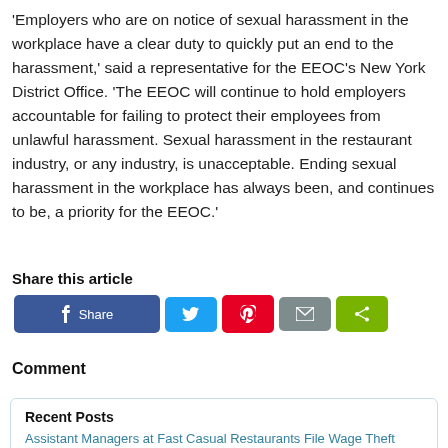'Employers who are on notice of sexual harassment in the workplace have a clear duty to quickly put an end to the harassment,' said a representative for the EEOC's New York District Office. 'The EEOC will continue to hold employers accountable for failing to protect their employees from unlawful harassment. Sexual harassment in the restaurant industry, or any industry, is unacceptable. Ending sexual harassment in the workplace has always been, and continues to be, a priority for the EEOC.'
Share this article
[Figure (infographic): Social share buttons: Facebook Share, Twitter, Pinterest, Email, Share (green)]
Comment
Recent Posts
Assistant Managers at Fast Casual Restaurants File Wage Theft Lawsuit